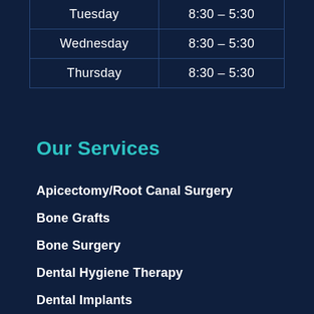| Day | Hours |
| --- | --- |
| Tuesday | 8:30 – 5:30 |
| Wednesday | 8:30 – 5:30 |
| Thursday | 8:30 – 5:30 |
Our Services
Apicectomy/Root Canal Surgery
Bone Grafts
Bone Surgery
Dental Hygiene Therapy
Dental Implants
Dental Trauma